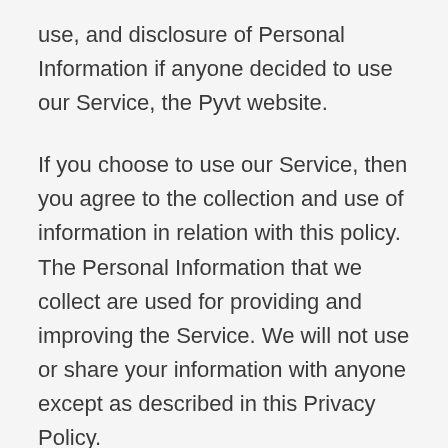use, and disclosure of Personal Information if anyone decided to use our Service, the Pyvt website.
If you choose to use our Service, then you agree to the collection and use of information in relation with this policy. The Personal Information that we collect are used for providing and improving the Service. We will not use or share your information with anyone except as described in this Privacy Policy.
The terms used in this Privacy Policy have